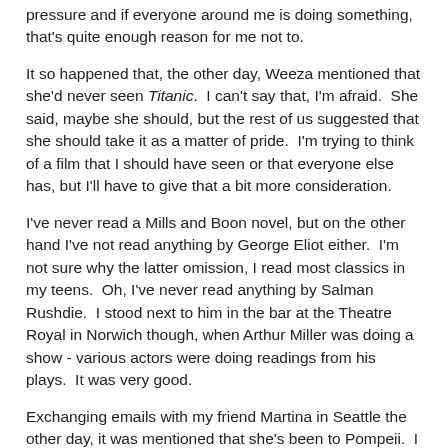pressure and if everyone around me is doing something, that's quite enough reason for me not to.
It so happened that, the other day, Weeza mentioned that she'd never seen Titanic.  I can't say that, I'm afraid.  She said, maybe she should, but the rest of us suggested that she should take it as a matter of pride.  I'm trying to think of a film that I should have seen or that everyone else has, but I'll have to give that a bit more consideration.
I've never read a Mills and Boon novel, but on the other hand I've not read anything by George Eliot either.  I'm not sure why the latter omission, I read most classics in my teens.  Oh, I've never read anything by Salman Rushdie.  I stood next to him in the bar at the Theatre Royal in Norwich though, when Arthur Miller was doing a show - various actors were doing readings from his plays.  It was very good.
Exchanging emails with my friend Martina in Seattle the other day, it was mentioned that she's been to Pompeii.  I haven't.  If I was going to, I should have been there years ago when I'd have found it fascinating, but now I don't want